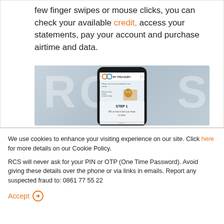few finger swipes or mouse clicks, you can check your available credit, access your statements, pay your account and purchase airtime and data.
[Figure (screenshot): A smartphone displaying the MyTreasury app by RCS, showing Step 1: Tell us how much you have to save. The phone is displayed on a grey background with RCS watermark letters.]
We use cookies to enhance your visiting experience on our site. Click here for more details on our Cookie Policy.
RCS will never ask for your PIN or OTP (One Time Password). Avoid giving these details over the phone or via links in emails. Report any suspected fraud to: 0861 77 55 22
Accept